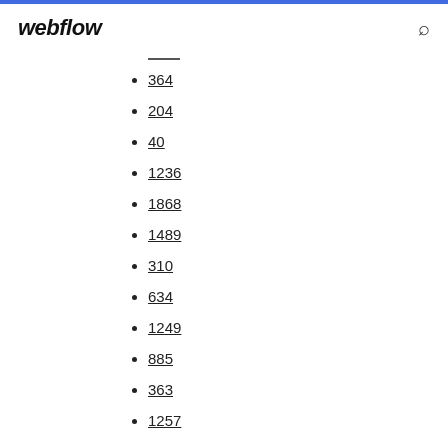webflow
364
204
40
1236
1868
1489
310
634
1249
885
363
1257